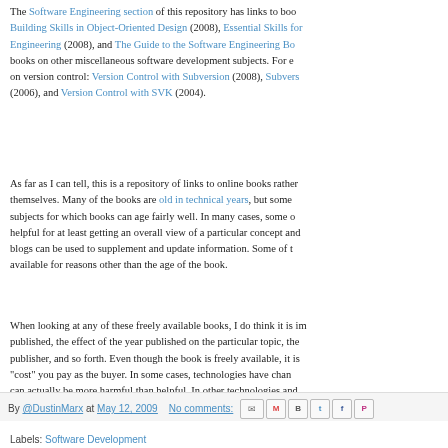The Software Engineering section of this repository has links to books including Building Skills in Object-Oriented Design (2008), Essential Skills for Engineering (2008), and The Guide to the Software Engineering Body of Knowledge books on other miscellaneous software development subjects. For example, on version control: Version Control with Subversion (2008), Subversion (2006), and Version Control with SVK (2004).
As far as I can tell, this is a repository of links to online books rather than the books themselves. Many of the books are old in technical years, but some cover subjects for which books can age fairly well. In many cases, some older books are helpful for at least getting an overall view of a particular concept and blogs can be used to supplement and update information. Some of the books are not available for reasons other than the age of the book.
When looking at any of these freely available books, I do think it is important to consider when published, the effect of the year published on the particular topic, the reputation of the publisher, and so forth. Even though the book is freely available, it is still your time as the "cost" you pay as the buyer. In some cases, technologies have changed so much that old books can actually be more harmful than helpful. In other technologies and subjects, it may not make much of a difference.
By @DustinMarx at May 12, 2009  No comments:
Labels: Software Development